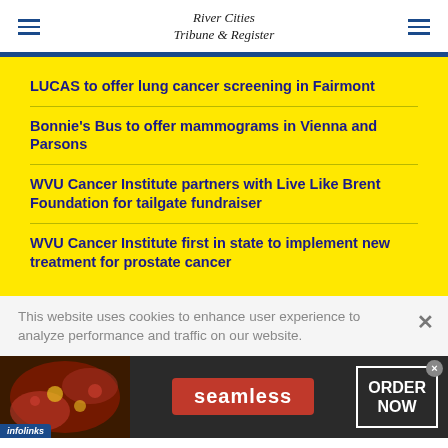River Cities Tribune & Register
LUCAS to offer lung cancer screening in Fairmont
Bonnie's Bus to offer mammograms in Vienna and Parsons
WVU Cancer Institute partners with Live Like Brent Foundation for tailgate fundraiser
WVU Cancer Institute first in state to implement new treatment for prostate cancer
This website uses cookies to enhance user experience to analyze performance and traffic on our website.
[Figure (screenshot): Seamless food delivery advertisement with pizza image, Seamless logo button, and ORDER NOW box on dark background]